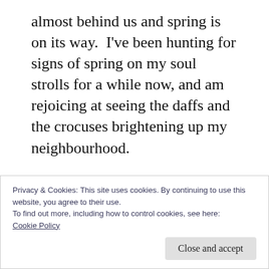almost behind us and spring is on its way.  I've been hunting for signs of spring on my soul strolls for a while now, and am rejoicing at seeing the daffs and the crocuses brightening up my neighbourhood.
I'm also thankful the days are becoming lighter and longer. It's lovely waking up to see some pretty stunning sunrises, as I can now see the early morning sun rising from the comfort on my very own bed
Privacy & Cookies: This site uses cookies. By continuing to use this website, you agree to their use.
To find out more, including how to control cookies, see here:
Cookie Policy
Close and accept